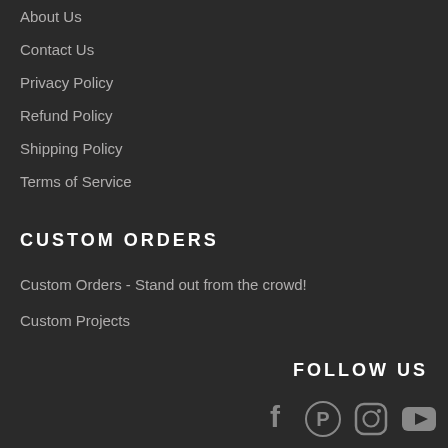About Us
Contact Us
Privacy Policy
Refund Policy
Shipping Policy
Terms of Service
CUSTOM ORDERS
Custom Orders - Stand out from the crowd!
Custom Projects
FOLLOW US
[Figure (other): Social media icons: Facebook, Pinterest, Instagram, YouTube]